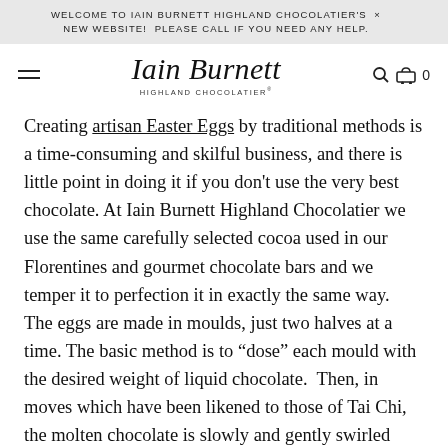WELCOME TO IAIN BURNETT HIGHLAND CHOCOLATIER'S NEW WEBSITE!  PLEASE CALL IF YOU NEED ANY HELP.
[Figure (logo): Iain Burnett Highland Chocolatier logo with script text and navigation icons (hamburger menu, search, cart with 0)]
Creating artisan Easter Eggs by traditional methods is a time-consuming and skilful business, and there is little point in doing it if you don't use the very best chocolate. At Iain Burnett Highland Chocolatier we use the same carefully selected cocoa used in our Florentines and gourmet chocolate bars and we temper it to perfection it in exactly the same way.
The eggs are made in moulds, just two halves at a time. The basic method is to “dose” each mould with the desired weight of liquid chocolate.  Then, in moves which have been likened to those of Tai Chi, the molten chocolate is slowly and gently swirled around until it is evenly distributed.  Too thin and the egg will be fragile,